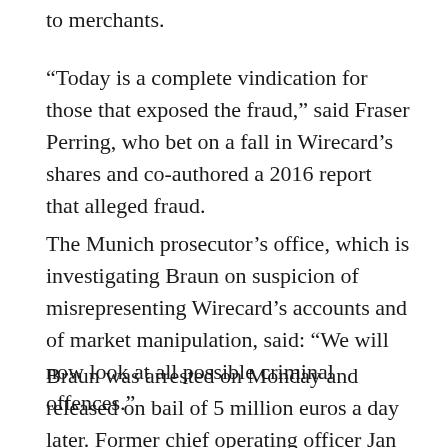to merchants.
“Today is a complete vindication for those that exposed the fraud,” said Fraser Perring, who bet on a fall in Wirecard’s shares and co-authored a 2016 report that alleged fraud.
The Munich prosecutor’s office, which is investigating Braun on suspicion of misrepresenting Wirecard’s accounts and of market manipulation, said: “We will now look at all possible criminal offences.”
Braun was arrested on Monday and released on bail of 5 million euros a day later. Former chief operating officer Jan Marsalek is also under suspicion and believed to be in the Philippines, according to justice officials there